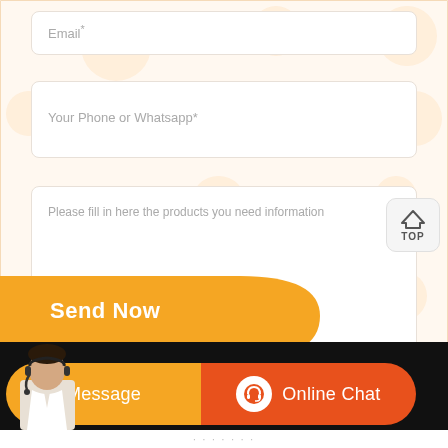[Figure (screenshot): A contact form section with fields for Email, Your Phone or Whatsapp, and a message textarea with placeholder text. An orange 'Send Now' button ribbon is at the bottom left. A TOP navigation button appears at the bottom right of the form. Below the form is a black bar with an agent photo and two buttons: orange 'Message' and dark orange 'Online Chat' with a headset icon.]
Email*
Your Phone or Whatsapp*
Please fill in here the products you need information
Send Now
Message
Online Chat